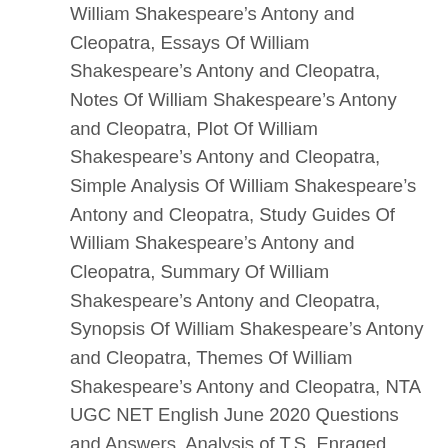William Shakespeare's Antony and Cleopatra, Essays Of William Shakespeare's Antony and Cleopatra, Notes Of William Shakespeare's Antony and Cleopatra, Plot Of William Shakespeare's Antony and Cleopatra, Simple Analysis Of William Shakespeare's Antony and Cleopatra, Study Guides Of William Shakespeare's Antony and Cleopatra, Summary Of William Shakespeare's Antony and Cleopatra, Synopsis Of William Shakespeare's Antony and Cleopatra, Themes Of William Shakespeare's Antony and Cleopatra, NTA UGC NET English June 2020 Questions and Answers, Analysis of T.S. Enraged, Antony blames Cleopatra and accuses her of betraying him. By the manner of their going and the human values they ultimately assert, Antony and Cleopatra leave an immense emptiness by their death. But near him thy ange Antony, out of his love for her, follows. Antony is forced to take action when